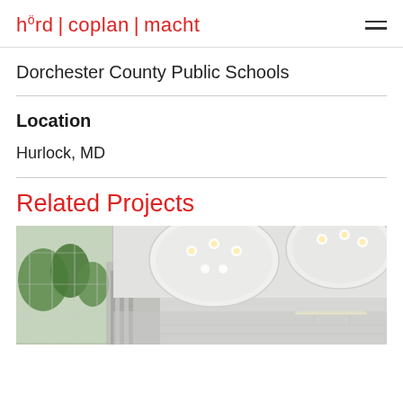hörd | coplan | macht
Dorchester County Public Schools
Location
Hurlock, MD
Related Projects
[Figure (photo): Interior architectural photo showing a modern building lobby with large circular ceiling features, recessed lighting, glass curtain wall with views of trees, and a staircase in the background.]